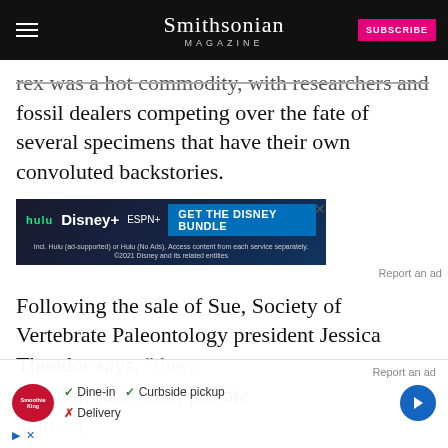Smithsonian MAGAZINE
rex was a hot commodity, with researchers and fossil dealers competing over the fate of several specimens that have their own convoluted backstories.
[Figure (other): Advertisement banner for Disney Bundle showing Hulu, Disney+, and ESPN+ logos with 'GET THE DISNEY BUNDLE' call to action]
Report an ad
Following the sale of Sue, Society of Vertebrate Paleontology president Jessica Theodor says, "there [is ongoing tension between] research [and] private land [...]"
[Figure (other): Overlay advertisement for Smoothie King showing Dine-in, Curbside pickup, and Delivery options with a navigation arrow]